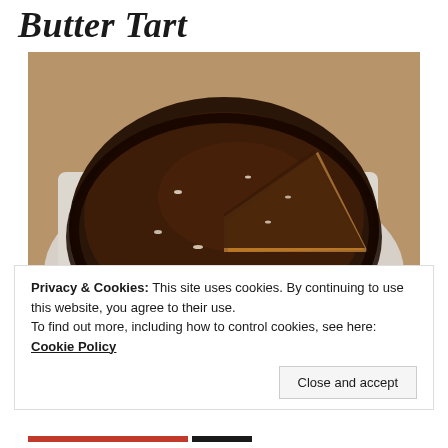Butter Tart
[Figure (photo): A chocolate-glazed tart with an Oreo cookie crust on a marble board, with one slice cut, showing a caramel/peanut butter layer beneath the chocolate ganache, topped with sea salt flakes.]
Privacy & Cookies: This site uses cookies. By continuing to use this website, you agree to their use.
To find out more, including how to control cookies, see here: Cookie Policy
Close and accept